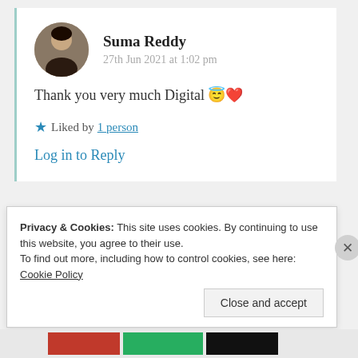Suma Reddy
27th Jun 2021 at 1:02 pm
Thank you very much Digital 😇❤️
★ Liked by 1 person
Log in to Reply
Privacy & Cookies: This site uses cookies. By continuing to use this website, you agree to their use.
To find out more, including how to control cookies, see here: Cookie Policy
Close and accept